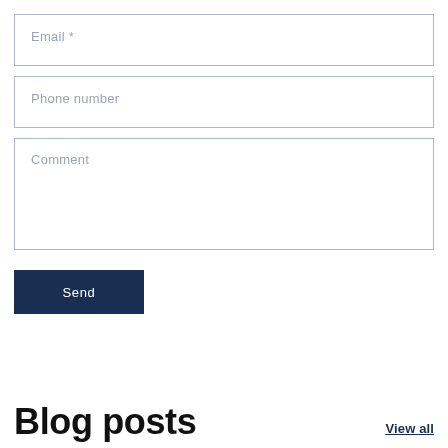Email *
Phone number
Comment
Send
Blog posts
View all